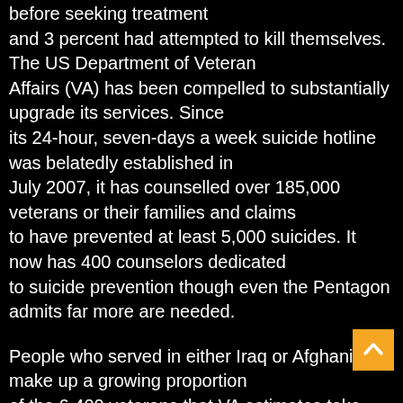before seeking treatment and 3 percent had attempted to kill themselves. The US Department of Veteran Affairs (VA) has been compelled to substantially upgrade its services. Since its 24-hour, seven-days a week suicide hotline was belatedly established in July 2007, it has counselled over 185,000 veterans or their families and claims to have prevented at least 5,000 suicides. It now has 400 counselors dedicated to suicide prevention though even the Pentagon admits far more are needed.
People who served in either Iraq or Afghanistan make up a growing proportion of the 6,400 veterans that VA estimates take their own